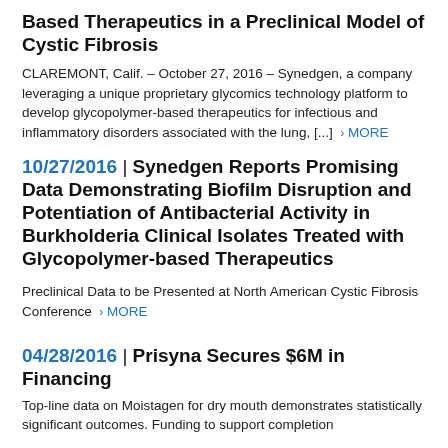Gastrointestinal Complications with Glycopolymer-Based Therapeutics in a Preclinical Model of Cystic Fibrosis
CLAREMONT, Calif. – October 27, 2016 – Synedgen, a company leveraging a unique proprietary glycomics technology platform to develop glycopolymer-based therapeutics for infectious and inflammatory disorders associated with the lung, [...] › MORE
10/27/2016 | Synedgen Reports Promising Data Demonstrating Biofilm Disruption and Potentiation of Antibacterial Activity in Burkholderia Clinical Isolates Treated with Glycopolymer-based Therapeutics
Preclinical Data to be Presented at North American Cystic Fibrosis Conference › MORE
04/28/2016 | Prisyna Secures $6M in Financing
Top-line data on Moistagen for dry mouth demonstrates statistically significant outcomes. Funding to support completion